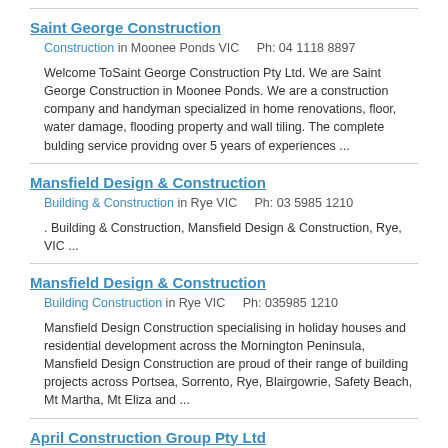Saint George Construction
Construction in Moonee Ponds VIC    Ph: 04 1118 8897
Welcome ToSaint George Construction Pty Ltd. We are Saint George Construction in Moonee Ponds. We are a construction company and handyman specialized in home renovations, floor, water damage, flooding property and wall tiling. The complete bulding service providng over 5 years of experiences ...
Mansfield Design & Construction
Building & Construction in Rye VIC    Ph: 03 5985 1210
. Building & Construction, Mansfield Design & Construction, Rye, VIC ...
Mansfield Design & Construction
Building Construction in Rye VIC    Ph: 035985 1210
Mansfield Design Construction specialising in holiday houses and residential development across the Mornington Peninsula, Mansfield Design Construction are proud of their range of building projects across Portsea, Sorrento, Rye, Blairgowrie, Safety Beach, Mt Martha, Mt Eliza and ...
April Construction Group Pty Ltd
Building & Construction in Melbourne VIC    Ph: 0411 862549
25 YEARS EXPERIENCE FULLY INSURED IN RE BLOCKING , RE